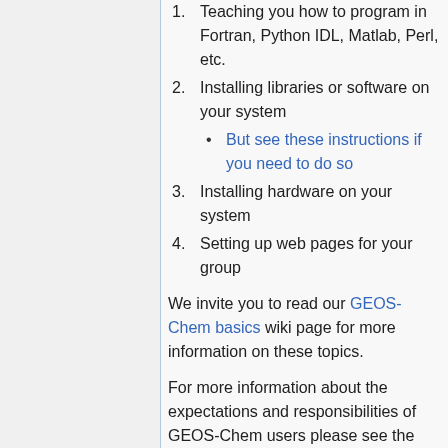Teaching you how to program in Fortran, Python IDL, Matlab, Perl, etc.
Installing libraries or software on your system
But see these instructions if you need to do so
Installing hardware on your system
Setting up web pages for your group
We invite you to read our GEOS-Chem basics wiki page for more information on these topics.
For more information about the expectations and responsibilities of GEOS-Chem users please see the welcome letter for new GEOS-Chem users.